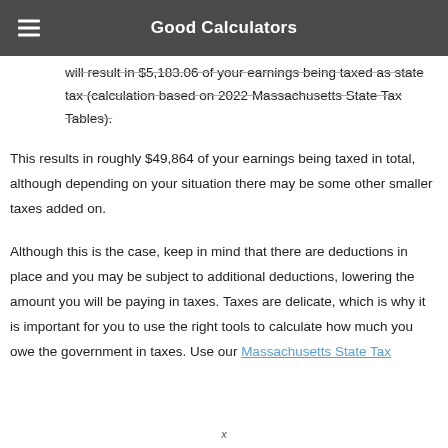Good Calculators
will result in $5,183.06 of your earnings being taxed as state tax (calculation based on 2022 Massachusetts State Tax Tables).
This results in roughly $49,864 of your earnings being taxed in total, although depending on your situation there may be some other smaller taxes added on.
Although this is the case, keep in mind that there are deductions in place and you may be subject to additional deductions, lowering the amount you will be paying in taxes. Taxes are delicate, which is why it is important for you to use the right tools to calculate how much you owe the government in taxes. Use our Massachusetts State Tax